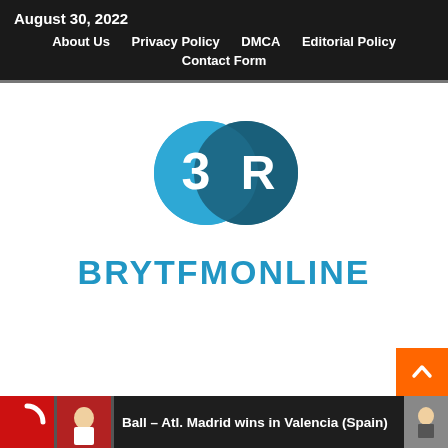August 30, 2022  About Us  Privacy Policy  DMCA  Editorial Policy  Contact Form
[Figure (logo): Bleacher Report / BRYTFMONLINE logo: two overlapping circles (light blue with '3' and dark teal with 'R'), with 'BRYTFMONLINE' in large bold blue letters below]
Ball – Atl. Madrid wins in Valencia (Spain)